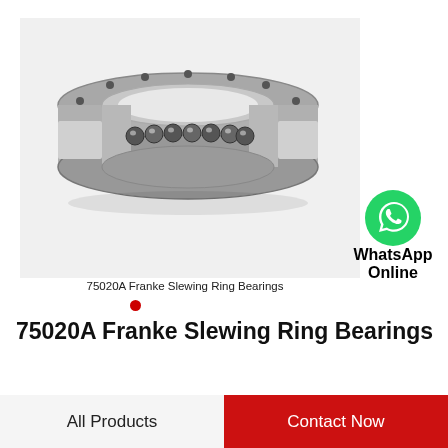[Figure (photo): 3D rendering of a slewing ring bearing (75020A Franke), shown in gray metallic finish with visible ball bearings along the raceway cross-section at the front]
75020A Franke Slewing Ring Bearings
[Figure (logo): WhatsApp green phone icon with text 'WhatsApp Online' below]
75020A Franke Slewing Ring Bearings
All Products | Contact Now